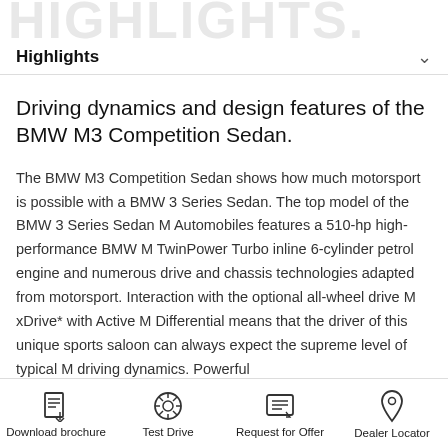HIGHLIGHTS.
Highlights
Driving dynamics and design features of the BMW M3 Competition Sedan.
The BMW M3 Competition Sedan shows how much motorsport is possible with a BMW 3 Series Sedan. The top model of the BMW 3 Series Sedan M Automobiles features a 510-hp high-performance BMW M TwinPower Turbo inline 6-cylinder petrol engine and numerous drive and chassis technologies adapted from motorsport. Interaction with the optional all-wheel drive M xDrive* with Active M Differential means that the driver of this unique sports saloon can always expect the supreme level of typical M driving dynamics. Powerful
Download brochure | Test Drive | Request for Offer | Dealer Locator